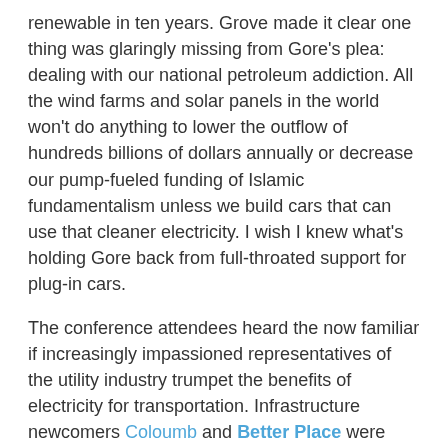renewable in ten years. Grove made it clear one thing was glaringly missing from Gore's plea: dealing with our national petroleum addiction. All the wind farms and solar panels in the world won't do anything to lower the outflow of hundreds billions of dollars annually or decrease our pump-fueled funding of Islamic fundamentalism unless we build cars that can use that cleaner electricity. I wish I knew what's holding Gore back from full-throated support for plug-in cars.
The conference attendees heard the now familiar if increasingly impassioned representatives of the utility industry trumpet the benefits of electricity for transportation. Infrastructure newcomers Coloumb and Better Place were well-represented, offering their proprietary schemes to become the consumer interface to plug-in cars. A number of startups showed off their porposals to retrofit the existing fleets of petroleum-fueled vehicles, giving some hope to Andy Grove's ambitoious desire to create millions of plug-in conversions before the automakers deliver.
Representatives of GM stoked the clamor for the Volt, and a Saturn Vue plug-in hybrid sat on the show floor. But neither